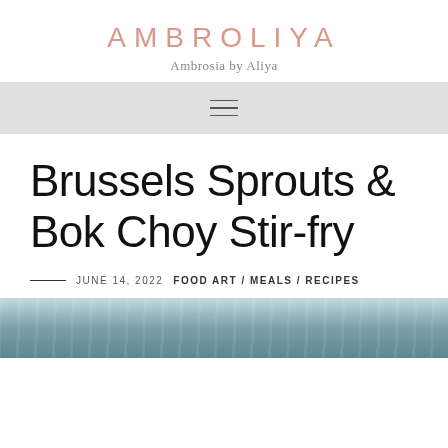AMBROLIYA
Ambrosia by Aliya
[Figure (other): Hamburger menu icon (three horizontal lines) on a light gray navigation bar]
Brussels Sprouts & Bok Choy Stir-fry
JUNE 14, 2022  FOOD ART / MEALS / RECIPES
[Figure (photo): Partial photo of Brussels Sprouts and Bok Choy stir-fry dish, blue-toned]